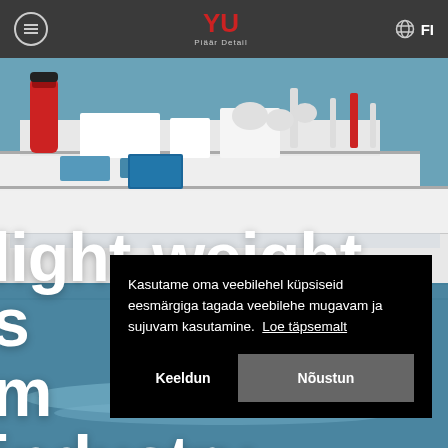Piäär Detail — FI
[Figure (photo): Aerial view of a Carnival cruise ship on blue ocean water, showing white decks, red funnels, and various structures on the ship]
light-weight solutions for marine industry
Kasutame oma veebilehel küpsiseid eesmärgiga tagada veebilehe mugavam ja sujuvam kasutamine. Loe täpsemalt
Keeldun    Nõustun